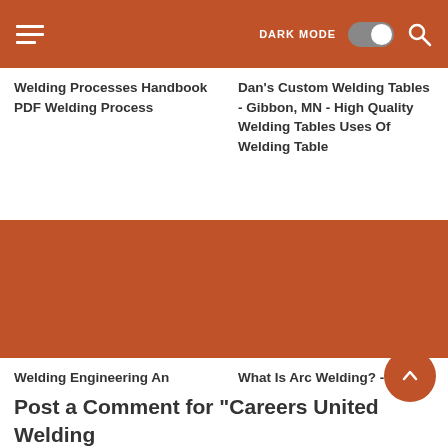DARK MODE [toggle] [search]
Welding Processes Handbook PDF Welding Process
Dan's Custom Welding Tables - Gibbon, MN - High Quality Welding Tables Uses Of Welding Table
[Figure (photo): Placeholder image with rust/terracotta orange background for welding engineering article]
[Figure (photo): Placeholder image with rust/terracotta orange background for arc welding article]
Welding Engineering An Introduction By David H. Phillips Welding Engineering An Introduction
What Is Arc Welding? - Definition And Process Types What Is A Welding Torch
Post a Comment for "Careers United Welding